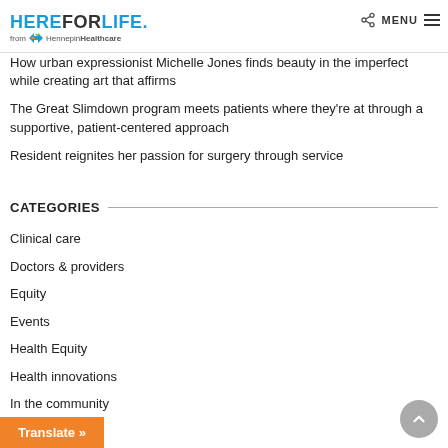HEREFORLIFE. from HennepinHealthcare
How urban expressionist Michelle Jones finds beauty in the imperfect while creating art that affirms
The Great Slimdown program meets patients where they're at through a supportive, patient-centered approach
Resident reignites her passion for surgery through service
CATEGORIES
Clinical care
Doctors & providers
Equity
Events
Health Equity
Health innovations
In the community
L...
Translate »